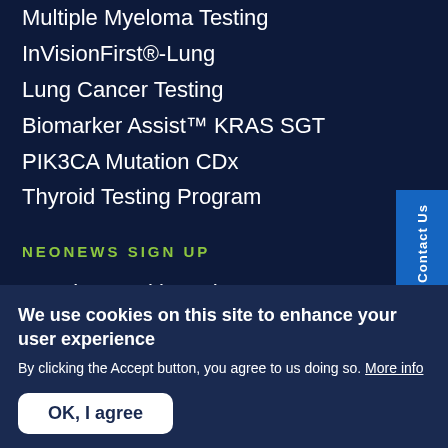Multiple Myeloma Testing
InVisionFirst®-Lung
Lung Cancer Testing
Biomarker Assist™ KRAS SGT
PIK3CA Mutation CDx
Thyroid Testing Program
NEONEWS SIGN UP
Receive weekly updates on NeoGenomics tests, research, events
We use cookies on this site to enhance your user experience
By clicking the Accept button, you agree to us doing so. More info
OK, I agree